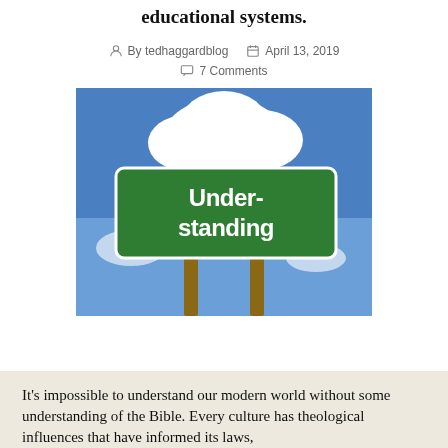educational systems.
By tedhaggardblog   April 13, 2019   7 Comments
[Figure (photo): A green road sign reading 'Understanding' mounted on wooden posts against a blue sky with clouds]
It’s impossible to understand our modern world without some understanding of the Bible. Every culture has theological influences that have informed its laws,